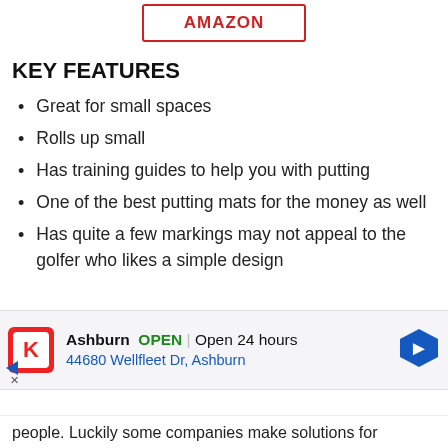[Figure (other): Amazon button with red border and red text AMAZON]
KEY FEATURES
Great for small spaces
Rolls up small
Has training guides to help you with putting
One of the best putting mats for the money as well
Has quite a few markings may not appeal to the golfer who likes a simple design
[Figure (other): Advertisement banner: Ashburn OPEN | Open 24 hours, 44680 Wellfleet Dr, Ashburn, with K logo and navigation arrow icon]
people. Luckily some companies make solutions for